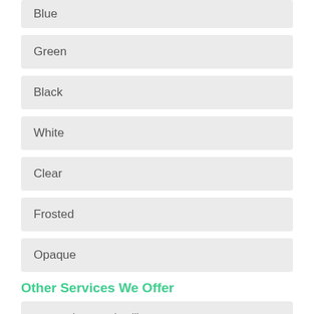Blue
Green
Black
White
Clear
Frosted
Opaque
Other Services We Offer
Automatic Doors in Allington - https://www.shopfrontdesign.co.uk/doors/automatic/wiltshire/allington